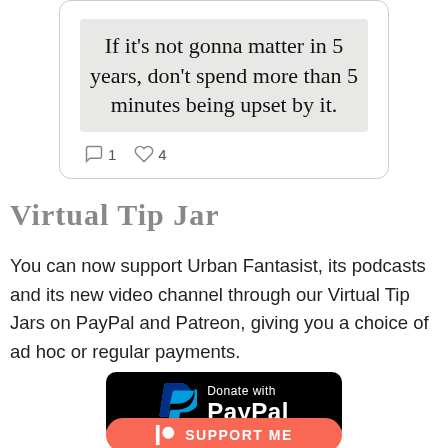[Figure (screenshot): Tweet card with motivational quote: 'If it's not gonna matter in 5 years, don't spend more than 5 minutes being upset by it.' with 1 comment and 4 likes icons.]
Virtual Tip Jar
You can now support Urban Fantasist, its podcasts and its new video channel through our Virtual Tip Jars on PayPal and Patreon, giving you a choice of ad hoc or regular payments.
[Figure (logo): Donate with PayPal button — black rounded rectangle with PayPal P logo and text 'Donate with PayPal']
[Figure (logo): Patreon support button — orange/red rounded rectangle with Patreon logo and text 'SUPPORT ME']